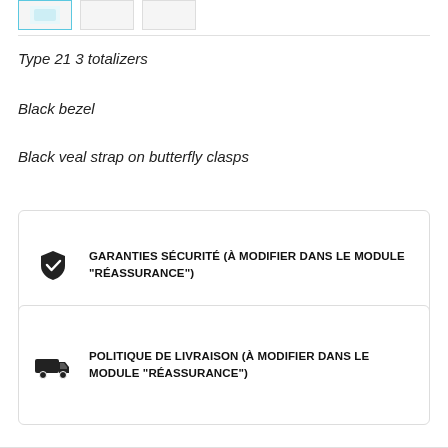[Figure (other): Three thumbnail images at the top, first with a light blue border (active), others with grey borders]
Type 21 3 totalizers
Black bezel
Black veal strap on butterfly clasps
GARANTIES SÉCURITÉ (À MODIFIER DANS LE MODULE "RÉASSURANCE")
POLITIQUE DE LIVRAISON (À MODIFIER DANS LE MODULE "RÉASSURANCE")